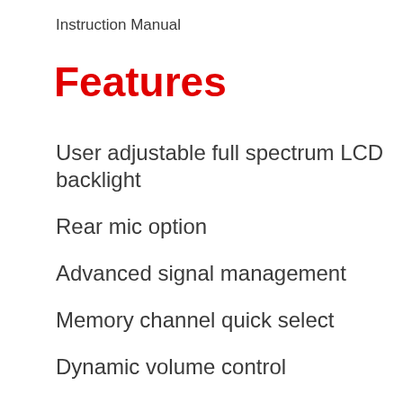Instruction Manual
Features
User adjustable full spectrum LCD backlight
Rear mic option
Advanced signal management
Memory channel quick select
Dynamic volume control
CTCSS and DCS